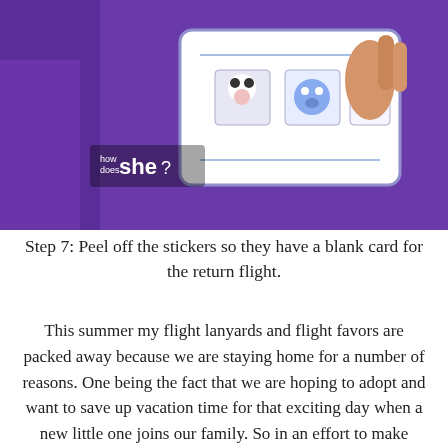[Figure (photo): A child holding a plastic card/lanyard with cartoon stickers on it. The child is wearing a purple shirt. A 'how does she?' logo appears in the lower left of the photo.]
Step 7: Peel off the stickers so they have a blank card for the return flight.
This summer my flight lanyards and flight favors are packed away because we are staying home for a number of reasons. One being the fact that we are hoping to adopt and want to save up vacation time for that exciting day when a new little one joins our family. So in an effort to make summer fun and exciting while at home we have come up with a lot of fun new things to try and do. Our favorite so far has been our PVC bike wash. I have seen these on Pinterest and other